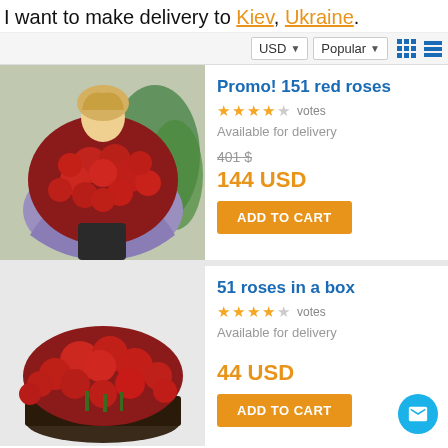I want to make delivery to Kiev, Ukraine.
USD ▼   Popular ▼
[Figure (photo): Woman holding a large bouquet of 151 red roses wrapped in purple paper, standing outdoors in front of a flower shop.]
Promo! 151 red roses
★★★★☆ votes
Available for delivery
401 $
144 USD
ADD TO CART
[Figure (photo): Large arrangement of 51 red roses in a box, placed on a dark-colored vase/box, seen from above and side.]
51 roses in a box
★★★★☆ votes
Available for delivery
44 USD
ADD TO CART